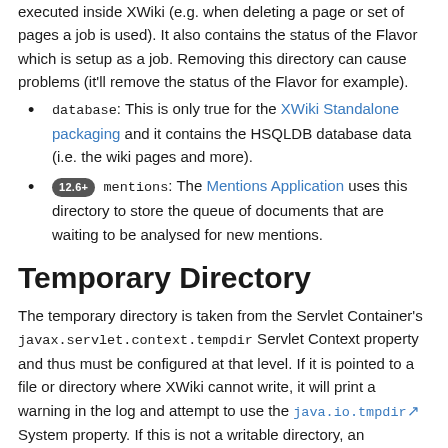executed inside XWiki (e.g. when deleting a page or set of pages a job is used). It also contains the status of the Flavor which is setup as a job. Removing this directory can cause problems (it'll remove the status of the Flavor for example).
database: This is only true for the XWiki Standalone packaging and it contains the HSQLDB database data (i.e. the wiki pages and more).
12.6+ mentions: The Mentions Application uses this directory to store the queue of documents that are waiting to be analysed for new mentions.
Temporary Directory
The temporary directory is taken from the Servlet Container's javax.servlet.context.tempdir Servlet Context property and thus must be configured at that level. If it is pointed to a file or directory where XWiki cannot write, it will print a warning in the log and attempt to use the java.io.tmpdir System property. If this is not a writable directory, an exception will be thrown.
Also note that 3rd party libraries used by XWiki could be using